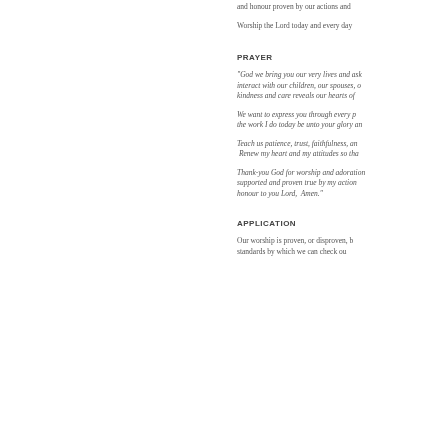and honour proven by our actions and
Worship the Lord today and every day
PRAYER
“God we bring you our very lives and ask interact with our children, our spouses, o kindness and care reveals our hearts of
We want to express you through every p the work I do today be unto your glory an
Teach us patience, trust, faithfulness, an Renew my heart and my attitudes so tha
Thank-you God for worship and adoration supported and proven true by my action honour to you Lord,  Amen.”
APPLICATION
Our worship is proven, or disproven, b standards by which we can check ou